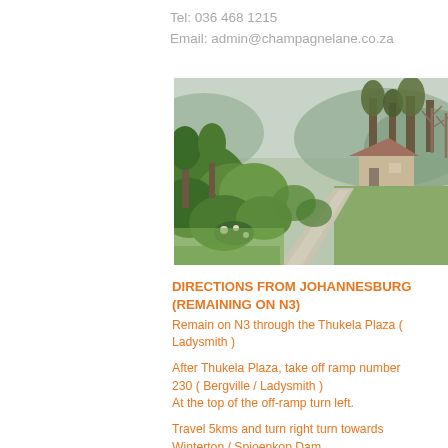Tel: 036 468 1215
Email: admin@champagnelane.co.za
[Figure (photo): A winding driveway through lush green gardens with trees, flower beds, and a building visible in the background]
DIRECTIONS FROM JOHANNESBURG (REMAINING ON N3)
Remain on N3 through the Thukela Plaza ( Ladysmith )
After Thukela Plaza, take off ramp number 230 ( Bergville / Ladysmith )
At the top of the off-ramp turn left.
Travel 5kms and turn right turn towards Winterton / Spioenkop Dam
Travel through the Thukela Valley
At T Junction, turn left to Winterton ( approx 1 km ). At the first set of robots in